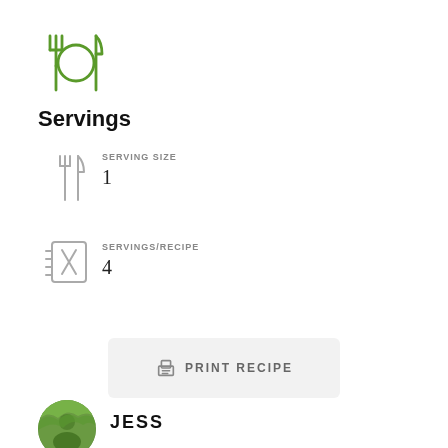[Figure (illustration): Green fork and knife icon]
Servings
[Figure (illustration): Grey fork and knife icon for serving size]
SERVING SIZE
1
[Figure (illustration): Grey recipe book with crossed utensils icon]
SERVINGS/RECIPE
4
PRINT RECIPE
[Figure (photo): Circular photo of author Jess outdoors on a tree-lined path]
JESS